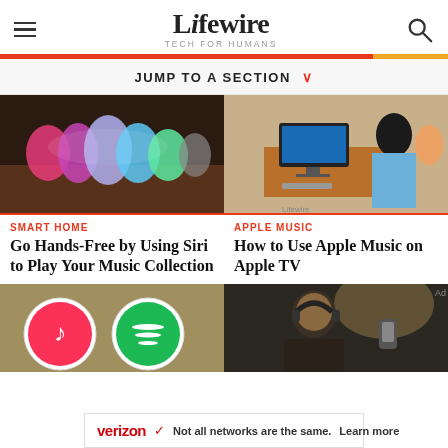Lifewire TECH FOR HUMANS
JUMP TO A SECTION
[Figure (photo): Siri waveform animation on dark background]
SMART HOME
Go Hands-Free by Using Siri to Play Your Music Collection
[Figure (illustration): Person listening to music on Apple TV, illustrated style with Lifewire watermark]
APPLE MUSIC
How to Use Apple Music on Apple TV
[Figure (photo): Apple Music and Spotify logos on olive/tan background]
[Figure (photo): Man wearing headphones working at audio equipment in low light]
[Figure (photo): Verizon advertisement banner — Not all networks are the same. Learn more]